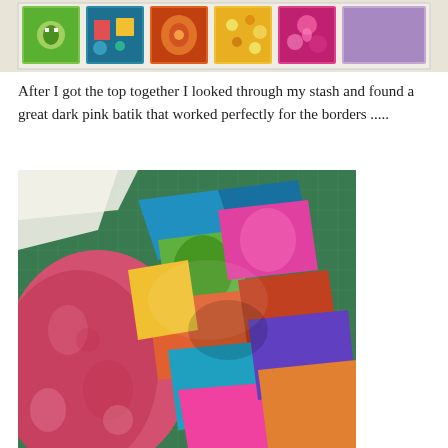[Figure (photo): A row of colorful quilt fabric squares laid out on a light background, showing various bright patterns including green, teal, orange, yellow, and pink fabrics.]
After I got the top together I looked through my stash and found a great dark pink batik that worked perfectly for the borders .....
[Figure (photo): A colorful patchwork quilt top bunched and folded on a cutting mat, next to a large piece of dark pink batik fabric. The quilt features bright multicolored prints in blue, pink, green, orange, yellow, and teal.]